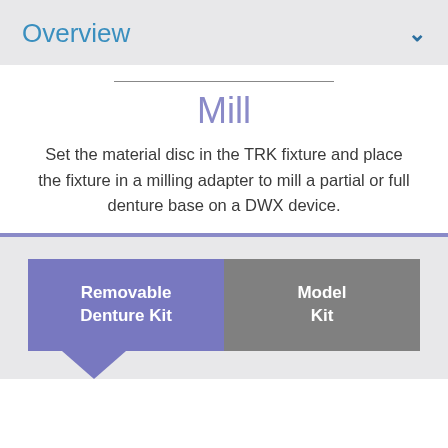Overview
Mill
Set the material disc in the TRK fixture and place the fixture in a milling adapter to mill a partial or full denture base on a DWX device.
Removable Denture Kit
Model Kit